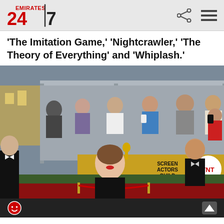Emirates 24|7
'The Imitation Game,' 'Nightcrawler,' 'The Theory of Everything' and 'Whiplash.'
[Figure (photo): Red carpet photo at the Screen Actors Guild Awards. A woman in a black dress with red lipstick stands in the foreground. Behind her are people in formal wear and a crowd of onlookers. A gold SAG Awards banner and tbs/TNT logos are visible in the background. The foreground shows red carpet roping and green hedges.]